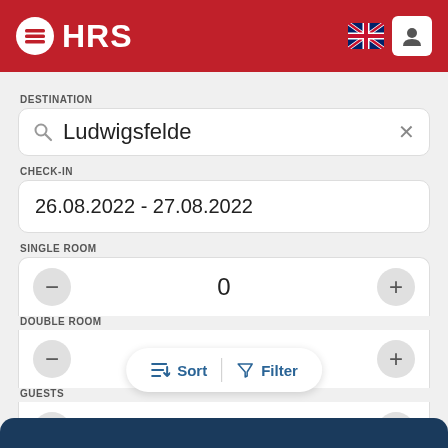[Figure (screenshot): HRS hotel booking app header with red background, HRS logo (white stacked circles icon and HRS text), UK flag icon, and user profile icon in white box]
DESTINATION
Ludwigsfelde
CHECK-IN
26.08.2022 - 27.08.2022
SINGLE ROOM
0
DOUBLE ROOM
1
GUESTS
Sort
Filter